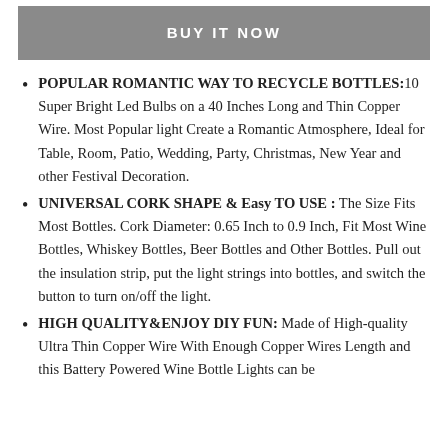BUY IT NOW
POPULAR ROMANTIC WAY TO RECYCLE BOTTLES:10 Super Bright Led Bulbs on a 40 Inches Long and Thin Copper Wire. Most Popular light Create a Romantic Atmosphere, Ideal for Table, Room, Patio, Wedding, Party, Christmas, New Year and other Festival Decoration.
UNIVERSAL CORK SHAPE & Easy TO USE : The Size Fits Most Bottles. Cork Diameter: 0.65 Inch to 0.9 Inch, Fit Most Wine Bottles, Whiskey Bottles, Beer Bottles and Other Bottles. Pull out the insulation strip, put the light strings into bottles, and switch the button to turn on/off the light.
HIGH QUALITY&ENJOY DIY FUN: Made of High-quality Ultra Thin Copper Wire With Enough Copper Wires Length and this Battery Powered Wine Bottle Lights can be